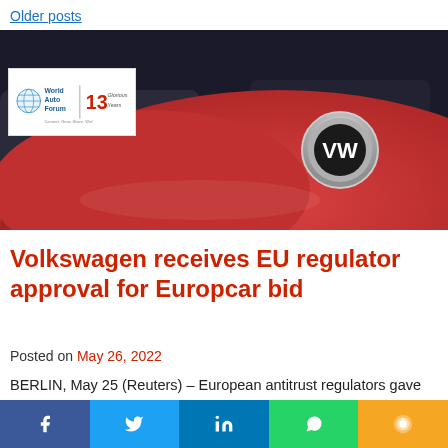Older posts
[Figure (photo): Close-up photo of a red Volkswagen car showing the VW logo badge, with blurred cars in the background. World Auto Forum 13 Glorious Years logo overlay in top-left corner.]
Volkswagen receives EU regulator approval for Europcar bid
Posted on May 26, 2022
BERLIN, May 25 (Reuters) – European antitrust regulators gave unconditional approval to a Volkswagen-led (VOWG_p.DE) consortium's bid for car rental firm Europcar (FUCAR.PA). Volkswagen said on Wednesday.